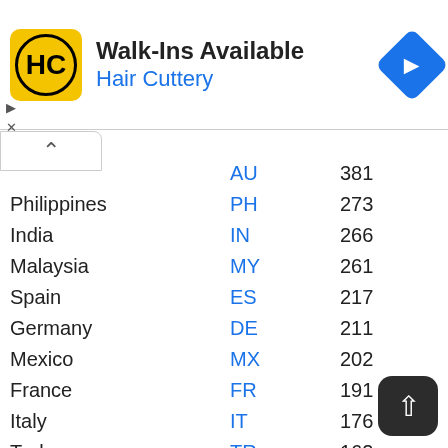[Figure (other): Hair Cuttery advertisement banner with logo, 'Walk-Ins Available' text, and navigation arrow icon]
| Country | Code | Count |
| --- | --- | --- |
|  | AU | 381 |
| Philippines | PH | 273 |
| India | IN | 266 |
| Malaysia | MY | 261 |
| Spain | ES | 217 |
| Germany | DE | 211 |
| Mexico | MX | 202 |
| France | FR | 191 |
| Italy | IT | 176 |
| Turkey | TR | 162 |
| Iraq | IQ | 147 |
| Thailand | TH | 144 |
| Netherlands | NL | 139 |
| Israel | IL | 137 |
| Cambodia | km | 114 |